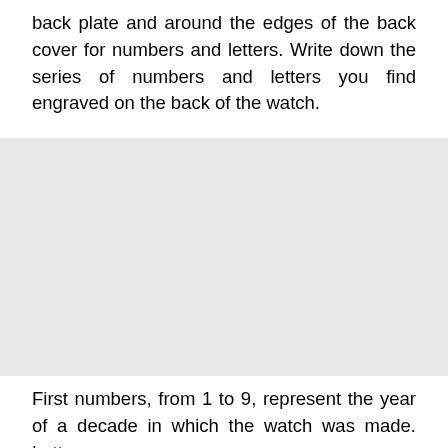back plate and around the edges of the back cover for numbers and letters. Write down the series of numbers and letters you find engraved on the back of the watch.
[Figure (photo): A light gray rectangular placeholder image, likely showing the back of a watch.]
First numbers, from 1 to 9, represent the year of a decade in which the watch was made. Letters